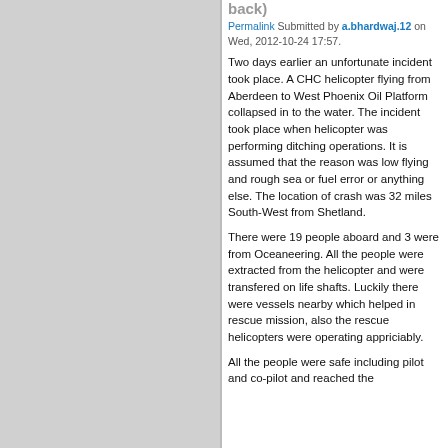back)
Permalink Submitted by a.bhardwaj.12 on Wed, 2012-10-24 17:57.
Two days earlier an unfortunate incident took place. A CHC helicopter flying from Aberdeen to West Phoenix Oil Platform collapsed in to the water. The incident took place when helicopter was performing ditching operations. It is assumed that the reason was low flying and rough sea or fuel error or anything else. The location of crash was 32 miles South-West from Shetland.
There were 19 people aboard and 3 were from Oceaneering. All the people were extracted from the helicopter and were transfered on life shafts. Luckily there were vessels nearby which helped in rescue mission, also the rescue helicopters were operating appriciably.
All the people were safe including pilot and co-pilot and reached the